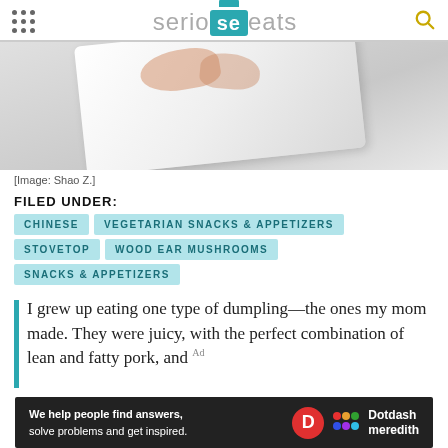serious eats
[Figure (photo): Food on a white plate, partial view showing what appears to be dumplings or appetizers, photographed from above on a light grey background. Credit: Shao Z.]
[Image: Shao Z.]
FILED UNDER:
CHINESE
VEGETARIAN SNACKS & APPETIZERS
STOVETOP
WOOD EAR MUSHROOMS
SNACKS & APPETIZERS
I grew up eating one type of dumpling—the ones my mom made. They were juicy, with the perfect combination of lean and fatty pork, and